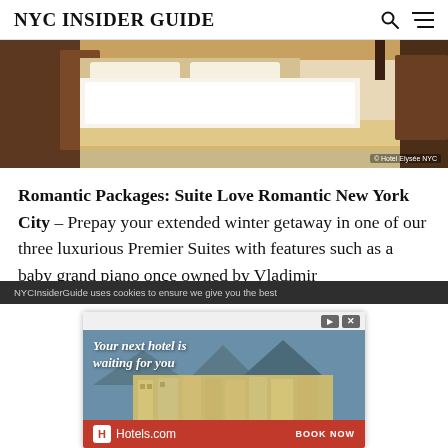NYC INSIDER GUIDE
[Figure (photo): Hotel room photo showing a bed with white linens and a ruffled bed skirt, warm toned furnishings. Credit: © Hotel Elysée NYC]
Romantic Packages: Suite Love Romantic New York City – Prepay your extended winter getaway in one of our three luxurious Premier Suites with features such as a baby grand piano once owned by Vladimir
NYCInsiderGuide uses cookies to ensure we give you the best
[Figure (other): Advertisement banner for Hotels.com reading 'Your next hotel is waiting for you' with BOOK NOW button. Shows a scenic mountain resort photo.]